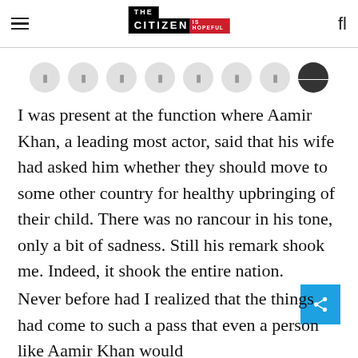THE CITIZEN IS HOPEFUL
[Figure (other): Social media sharing icon buttons row — 7 grey circle buttons with icons and 1 dark circle button with a droplet/share icon]
I was present at the function where Aamir Khan, a leading most actor, said that his wife had asked him whether they should move to some other country for healthy upbringing of their child. There was no rancour in his tone, only a bit of sadness. Still his remark shook me. Indeed, it shook the entire nation.
Never before had I realized that the things had come to such a pass that even a person like Aamir Khan would